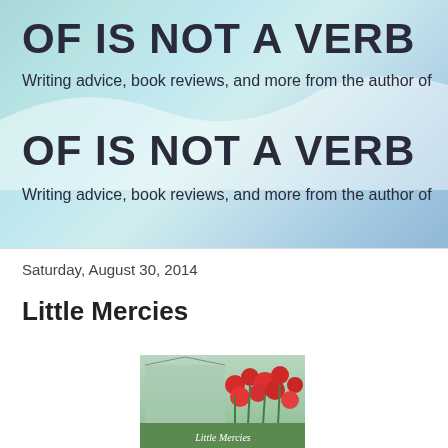OF IS NOT A VERB
Writing advice, book reviews, and more from the author of
OF IS NOT A VERB
Writing advice, book reviews, and more from the author of
Saturday, August 30, 2014
Little Mercies
[Figure (photo): Book cover of 'Little Mercies' showing red poppies and a garden scene]